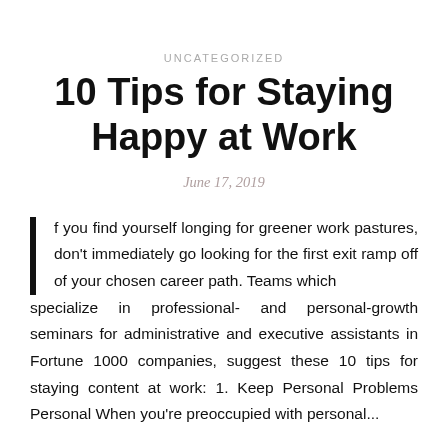UNCATEGORIZED
10 Tips for Staying Happy at Work
June 17, 2019
If you find yourself longing for greener work pastures, don't immediately go looking for the first exit ramp off of your chosen career path. Teams which specialize in professional- and personal-growth seminars for administrative and executive assistants in Fortune 1000 companies, suggest these 10 tips for staying content at work: 1. Keep Personal Problems Personal When you're preoccupied with personal...